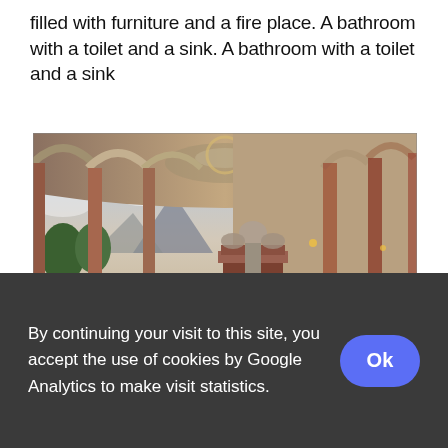filled with furniture and a fire place. A bathroom with a toilet and a sink. A bathroom with a toilet and a sink
[Figure (photo): Panoramic interior photo of a grand classical hall with arched colonnades, ornate marble checkerboard floors, a central statue on a pedestal, and an open view to a scenic outdoor landscape with trees and mountains]
By continuing your visit to this site, you accept the use of cookies by Google Analytics to make visit statistics.